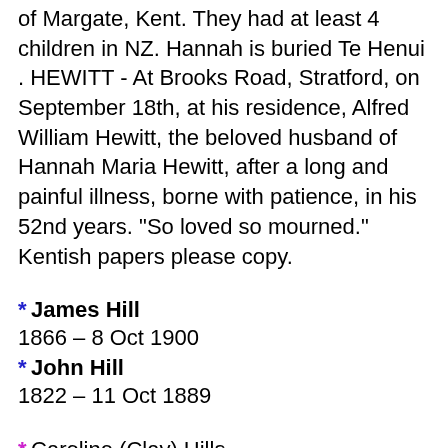of Margate, Kent. They had at least 4 children in NZ. Hannah is buried Te Henui . HEWITT - At Brooks Road, Stratford, on September 18th, at his residence, Alfred William Hewitt, the beloved husband of Hannah Maria Hewitt, after a long and painful illness, borne with patience, in his 52nd years. "So loved so mourned." Kentish papers please copy.
* James Hill 1866 – 8 Oct 1900
* John Hill 1822 – 11 Oct 1889
* Caroline (Clay) Hills 30 May 1833 – 29 Mar 1903 . Caroline was born in Faversham, Kent, daughter of Charles Clay & Caroline Lawson. She married William Hills (1819...